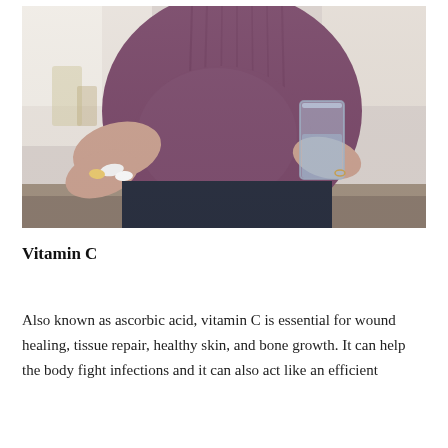[Figure (photo): A pregnant woman in a purple top holding pills in one hand and a glass of water in the other hand, leaning against a kitchen counter.]
Vitamin C
Also known as ascorbic acid, vitamin C is essential for wound healing, tissue repair, healthy skin, and bone growth. It can help the body fight infections and it can also act like an efficient